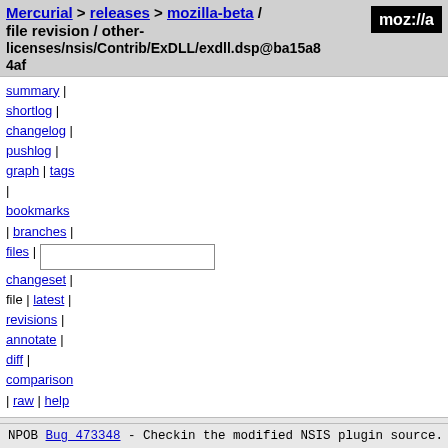Mercurial > releases > mozilla-beta / file revision / other-licenses/nsis/Contrib/ExDLL/exdll.dsp@ba15a84af
summary |
shortlog |
changelog |
pushlog |
graph | tags
|
bookmarks
| branches |
files |
changeset |
file | latest |
revisions |
annotate |
diff |
comparison
| raw | help
other-licenses/nsis/Contrib/ExDLL/exdll.dsp
| field | value |
| --- | --- |
| author | Robert Strong <robert.bugzilla@gmail.com> |
|  | Mon, 19 Jan 2009 18:05:53 -0800 (2009-01-20) |
| changeset 23964 | ba15a84af7e6c364570feb7b5a66cea87ba460c8 |
| permissions | -rw-r--r-- |
NPOB Bug_473348 - Checkin the modified NSIS plugin source. n